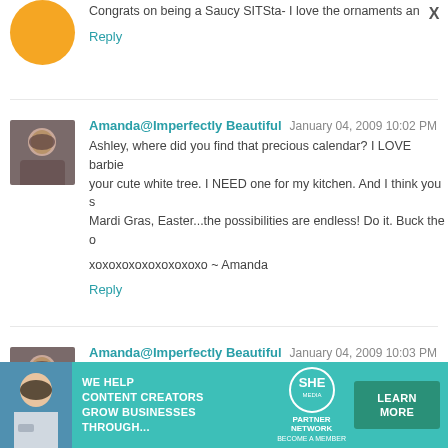Congrats on being a Saucy SITSta- I love the ornaments and the
Reply
Amanda@Imperfectly Beautiful  January 04, 2009 10:02 PM
Ashley, where did you find that precious calendar? I LOVE barbie your cute white tree. I NEED one for my kitchen. And I think you s Mardi Gras, Easter...the possibilities are endless! Do it. Buck the o
xoxoxoxoxoxoxoxoxo ~ Amanda
Reply
Amanda@Imperfectly Beautiful  January 04, 2009 10:03 PM
p.s.
You know I LOVE me some ribbon. I am drooling over that aqua p
Reply
Laura  January 04, 2009 10:52 PM
[Figure (infographic): SHE Partner Network advertisement banner with woman holding tablet, text: WE HELP CONTENT CREATORS GROW BUSINESSES THROUGH..., SHE Partner Network logo, LEARN MORE button, and X close button]